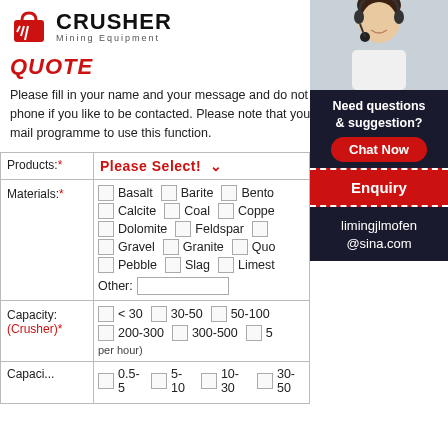[Figure (logo): Crusher Mining Equipment logo with red bag icon and bold CRUSHER text]
QUOTE
Please fill in your name and your message and do not forget mail and/or phone if you like to be contacted. Please note that you do not need to have a mail programme to use this function.
| Field | Input |
| --- | --- |
| Products:* | Please Select! ∨ |
| Materials:* | Basalt, Barite, Bento..., Calcite, Coal, Coppe..., Dolomite, Feldspar, ..., Gravel, Granite, Quo..., Pebble, Slag, Limest..., Other: [input] |
| Capacity: (Crusher)* | < 30, 30-50, 50-100, 200-300, 300-500, 5... (per hour) |
| Capacity: | 0.5-5, 5-10, 10-30, 30-50 |
[Figure (photo): Woman with headset smiling - customer service representative]
24Hrs Online
Need questions & suggestion?
Chat Now
Enquiry
limingjlmofen@sina.com